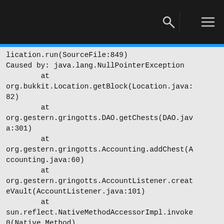[navigation bar with search and menu icons]
lication.run(SourceFile:849)
Caused by: java.lang.NullPointerException
        at org.bukkit.Location.getBlock(Location.java:82)
        at org.gestern.gringotts.DAO.getChests(DAO.java:301)
        at org.gestern.gringotts.Accounting.addChest(Accounting.java:60)
        at org.gestern.gringotts.AccountListener.createVault(AccountListener.java:101)
        at sun.reflect.NativeMethodAccessorImpl.invoke0(Native Method)
        at sun.reflect.NativeMethodAccessorImpl.invoke